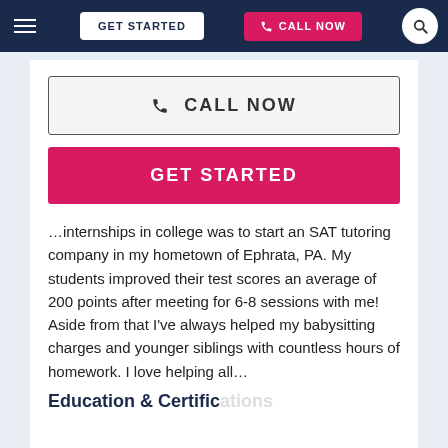GET STARTED  CALL NOW
CALL NOW
GET STARTED
…internships in college was to start an SAT tutoring company in my hometown of Ephrata, PA. My students improved their test scores an average of 200 points after meeting for 6-8 sessions with me! Aside from that I've always helped my babysitting charges and younger siblings with countless hours of homework. I love helping all…
Education & Certifications